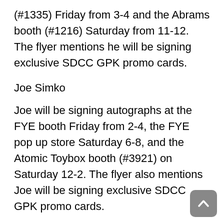(#1335) Friday from 3-4 and the Abrams booth (#1216) Saturday from 11-12. The flyer mentions he will be signing exclusive SDCC GPK promo cards.
Joe Simko
Joe will be signing autographs at the FYE booth Friday from 2-4, the FYE pop up store Saturday 6-8, and the Atomic Toybox booth (#3921) on Saturday 12-2. The flyer also mentions Joe will be signing exclusive SDCC GPK promo cards.
Super7
Super7 will have the previously announced Universal Monster x GPK cards for sale at their pop-up store Wed and Thur. Any leftovers will be sold at their booth during the weekend. The flyer shows packs of 6 cards so a min. Of four packs will be necessary to make a